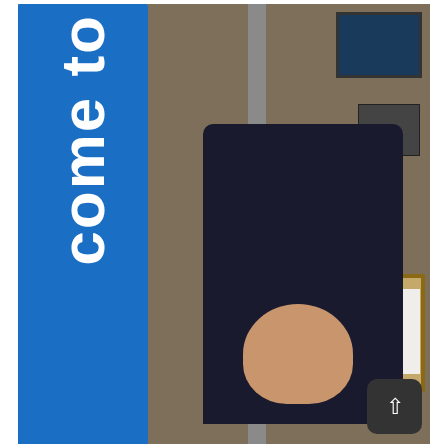[Figure (photo): A man in a dark navy shirt standing behind a large blue vertical banner/sign that reads 'come to' (partial text visible, likely 'Welcome to'). The man is smiling and appears to be in an office or reception area with beige/tan walls, a dark framed picture in the upper right, a telephone on the wall, and a cork bulletin board with papers on the right side. A gray door panel is partially visible. A dark navigation button with an up arrow is visible in the lower right corner.]